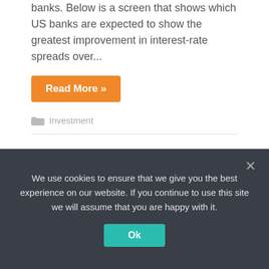banks. Below is a screen that shows which US banks are expected to show the greatest improvement in interest-rate spreads over...
Read More »
Investment
Target stock falls after big profit miss, but most of the financial pain from inventory actions has passed
We use cookies to ensure that we give you the best experience on our website. If you continue to use this site we will assume that you are happy with it.
Ok